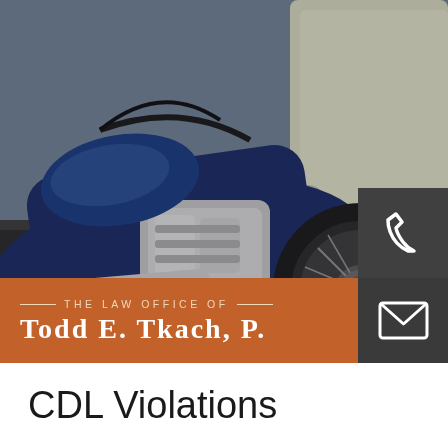[Figure (photo): Motorcycle accident photo showing a blue motorcycle crashed against a car, with the motorcycle on its side and the wheel pressed against the car door]
THE LAW OFFICE OF Todd E. Tkach, P.
CDL Violations